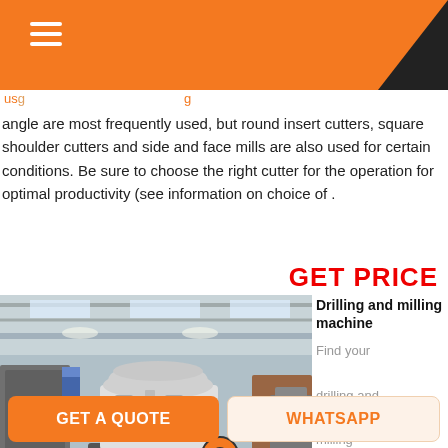angle are most frequently used, but round insert cutters, square shoulder cutters and side and face mills are also used for certain conditions. Be sure to choose the right cutter for the operation for optimal productivity (see information on choice of .
GET PRICE
[Figure (photo): Industrial drilling and milling machine in a large factory/warehouse setting. Large white and orange industrial machine in the foreground, additional machinery in the background.]
Drilling and milling machine
Find your drilling and milling machine easily
GET A QUOTE
WHATSAPP